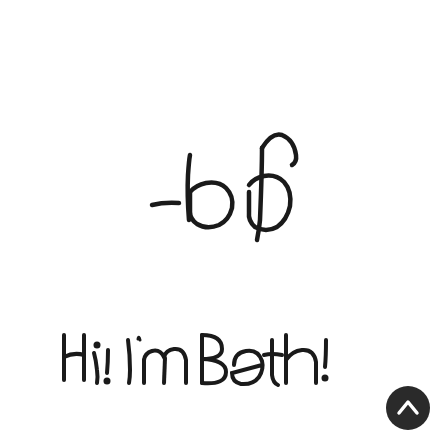[Figure (illustration): Handwritten cursive signature reading '-bd' in black ink on white background]
Hi! I'm Beth!
[Figure (illustration): Circular dark scroll-to-top button with upward chevron arrow in bottom right corner]